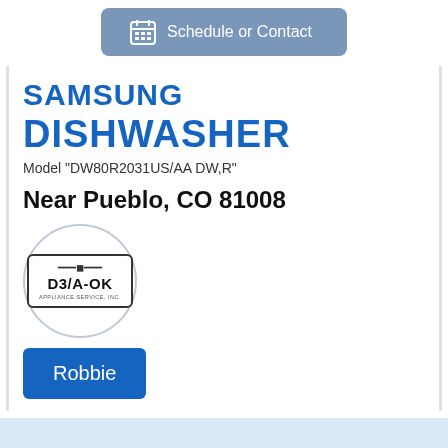[Figure (other): Schedule or Contact button with calendar icon, slate blue rounded rectangle]
SAMSUNG DISHWASHER
Model "DW80R2031US/AA DW,R"
Near Pueblo, CO 81008
[Figure (logo): D3/A-OK Appliance Service Inc logo inside a circle border]
Robbie